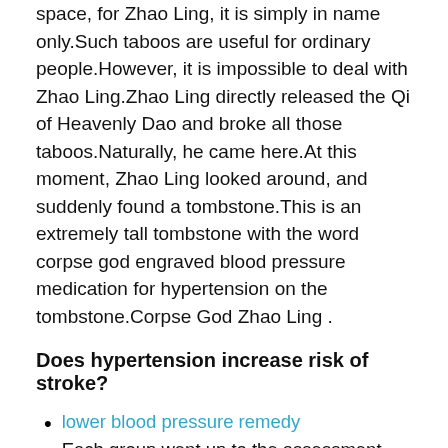space, for Zhao Ling, it is simply in name only.Such taboos are useful for ordinary people.However, it is impossible to deal with Zhao Ling.Zhao Ling directly released the Qi of Heavenly Dao and broke all those taboos.Naturally, he came here.At this moment, Zhao Ling looked around, and suddenly found a tombstone.This is an extremely tall tombstone with the word corpse god engraved blood pressure medication for hypertension on the tombstone.Corpse God Zhao Ling .
Does hypertension increase risk of stroke?
lower blood pressure remedy
Each group went up to the assessment, and those who passed stood on the left side, and someone would lead them to the place where they lived, while the rest left in dismay.
how much garlic needed to lower blood pressure
Skull Cobra said worriedly.Skull lie is skeleton lie.I am